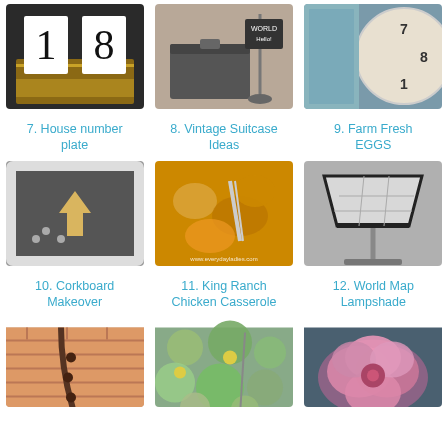[Figure (photo): House number plate showing 18 on black background with gold glitter decoration]
7. House number plate
[Figure (photo): Vintage suitcase and decorative iron stand with chalkboard sign]
8. Vintage Suitcase Ideas
[Figure (photo): Farm fresh eggs sign with clock in background]
9. Farm Fresh EGGS
[Figure (photo): Corkboard in white frame with decorative arrow]
10. Corkboard Makeover
[Figure (photo): King Ranch Chicken Casserole close-up food photo]
11. King Ranch Chicken Casserole
[Figure (photo): Lamp with world map lampshade]
12. World Map Lampshade
[Figure (photo): Person wearing bead necklace against brick wall]
[Figure (photo): Green plant close-up with yellow flowers]
[Figure (photo): Pink silk flower arrangement]